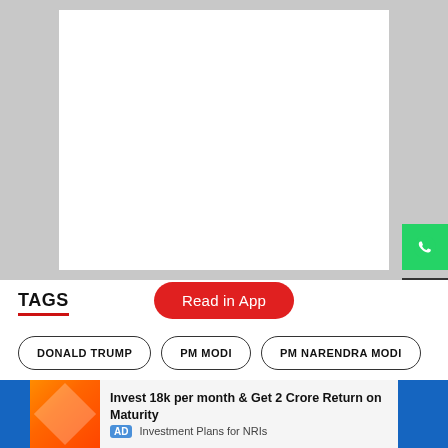[Figure (other): Gray background area with a white rectangle placeholder image in the center]
TAGS
Read in App
DONALD TRUMP
PM MODI
PM NARENDRA MODI
Invest 18k per month & Get 2 Crore Return on Maturity AD Investment Plans for NRIs